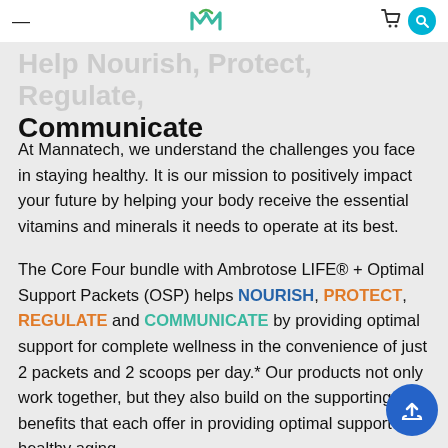Mannatech navigation header with logo, cart, and search icons
Help Nourish, Protect, Regulate, Communicate
At Mannatech, we understand the challenges you face in staying healthy. It is our mission to positively impact your future by helping your body receive the essential vitamins and minerals it needs to operate at its best.
The Core Four bundle with Ambrotose LIFE® + Optimal Support Packets (OSP) helps NOURISH, PROTECT, REGULATE and COMMUNICATE by providing optimal support for complete wellness in the convenience of just 2 packets and 2 scoops per day.* Our products not only work together, but they also build on the supporting benefits that each offer in providing optimal support for healthy aging